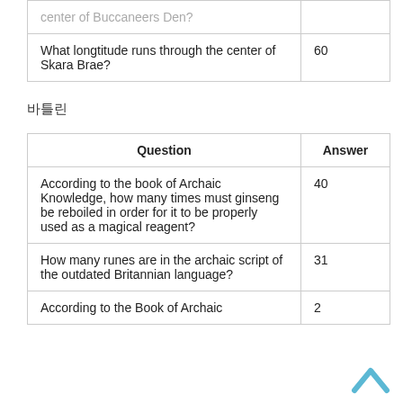|  |  |
| --- | --- |
| center of Buccaneers Den? |  |
| What longtitude runs through the center of Skara Brae? | 60 |
바틀린
| Question | Answer |
| --- | --- |
| According to the book of Archaic Knowledge, how many times must ginseng be reboiled in order for it to be properly used as a magical reagent? | 40 |
| How many runes are in the archaic script of the outdated Britannian language? | 31 |
| According to the Book of Archaic | 2 |